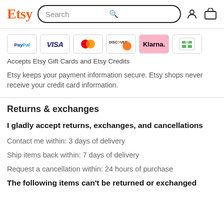Etsy | Search
[Figure (screenshot): Payment method logos: PayPal, Visa, Mastercard, Discover, Klarna, Etsy gift card]
Accepts Etsy Gift Cards and Etsy Credits
Etsy keeps your payment information secure. Etsy shops never receive your credit card information.
Returns & exchanges
I gladly accept returns, exchanges, and cancellations
Contact me within: 3 days of delivery
Ship items back within: 7 days of delivery
Request a cancellation within: 24 hours of purchase
The following items can't be returned or exchanged